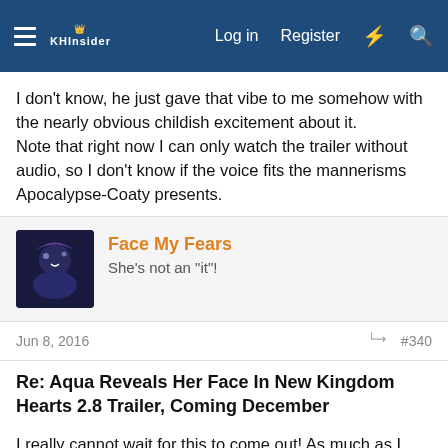KHInsider forum navigation bar with Log in, Register, and search icons
I don't know, he just gave that vibe to me somehow with the nearly obvious childish excitement about it.
Note that right now I can only watch the trailer without audio, so I don't know if the voice fits the mannerisms Apocalypse-Coaty presents.
Face My Fears
She's not an "it"!
Jun 8, 2016  #340
Re: Aqua Reveals Her Face In New Kingdom Hearts 2.8 Trailer, Coming December
I really cannot wait for this to come out! As much as I love 3D, 0.2 and Back Cover are the things I really want to get to. I tried playing KHUX, but I just can't get into the game on the mobile. I tried to become more involved in the story at least, but I still am